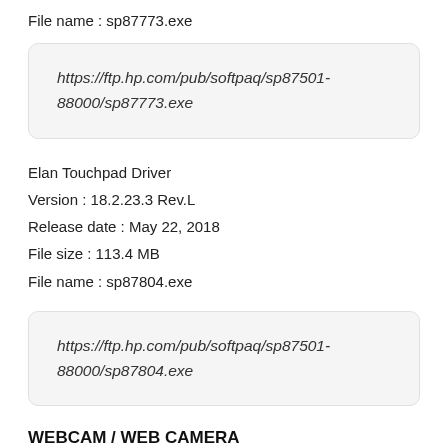File name : sp87773.exe
https://ftp.hp.com/pub/softpaq/sp87501-88000/sp87773.exe
Elan Touchpad Driver
Version : 18.2.23.3 Rev.L
Release date : May 22, 2018
File size : 113.4 MB
File name : sp87804.exe
https://ftp.hp.com/pub/softpaq/sp87501-88000/sp87804.exe
WEBCAM / WEB CAMERA